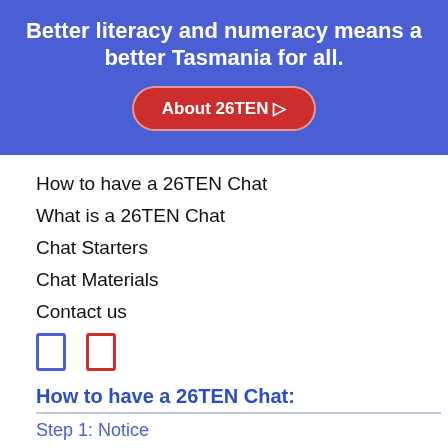Better literacy and numeracy means a better Tasmania for all.
[Figure (other): Red rounded button labeled 'About 26TEN' with arrow]
How to have a 26TEN Chat
What is a 26TEN Chat
Chat Starters
Chat Materials
Contact us
[Figure (other): Social media icons: Facebook (blue outline) and YouTube/other (red outline)]
How to have a 26TEN Chat:
Step 1: Notice
Step 2: Raise